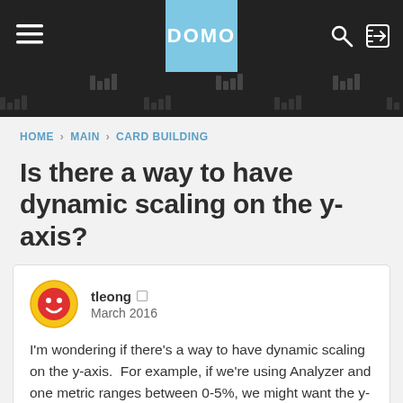DOMO
HOME › MAIN › CARD BUILDING
Is there a way to have dynamic scaling on the y-axis?
tleong
March 2016

I'm wondering if there's a way to have dynamic scaling on the y-axis.  For example, if we're using Analyzer and one metric ranges between 0-5%, we might want the y-axis to start at 0.  However, if